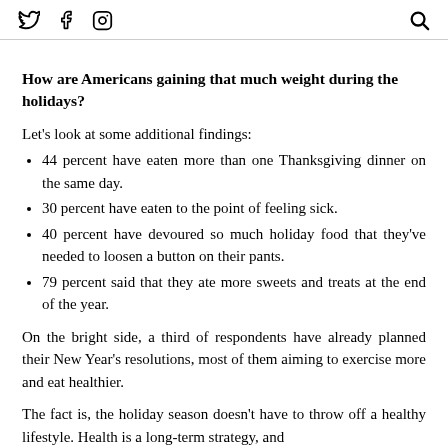Twitter Facebook Instagram [Search icon]
How are Americans gaining that much weight during the holidays?
Let's look at some additional findings:
44 percent have eaten more than one Thanksgiving dinner on the same day.
30 percent have eaten to the point of feeling sick.
40 percent have devoured so much holiday food that they've needed to loosen a button on their pants.
79 percent said that they ate more sweets and treats at the end of the year.
On the bright side, a third of respondents have already planned their New Year's resolutions, most of them aiming to exercise more and eat healthier.
The fact is, the holiday season doesn't have to throw off a healthy lifestyle. Health is a long-term strategy, and